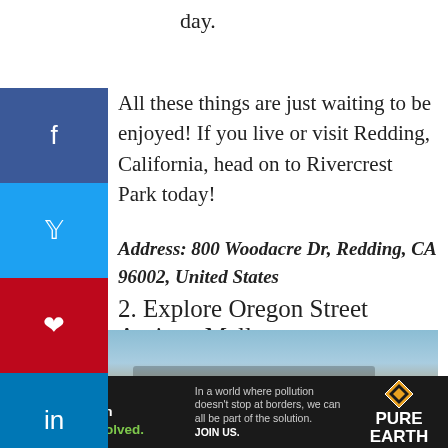day.
All these things are just waiting to be enjoyed! If you live or visit Redding, California, head on to Rivercrest Park today!
Address: 800 Woodacre Dr, Redding, CA 96002, United States
2. Explore Oregon Street Antique Mall
[Figure (photo): Exterior photo of Oregon Street Antique Mall building with blue sky. Image shows error: No suitable source was found for this media.]
[Figure (other): Advertisement banner: Pure Earth pollution awareness ad. Text reads: We believe the global pollution crisis can be solved. In a world where pollution doesn't stop at borders, we can all be part of the solution. JOIN US.]